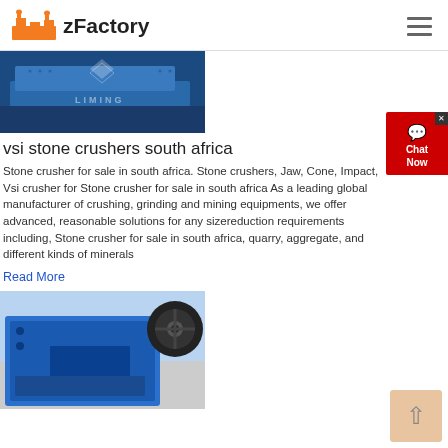zFactory
[Figure (photo): Industrial blue machinery (LIMING brand vibrating screen or crusher) photographed in warehouse setting]
vsi stone crushers south africa
Stone crusher for sale in south africa. Stone crushers, Jaw, Cone, Impact, Vsi crusher for Stone crusher for sale in south africa As a leading global manufacturer of crushing, grinding and mining equipments, we offer advanced, reasonable solutions for any sizereduction requirements including, Stone crusher for sale in south africa, quarry, aggregate, and different kinds of minerals
Read More
[Figure (photo): Blue LIMING brand jaw crusher machine photographed in factory/warehouse setting]